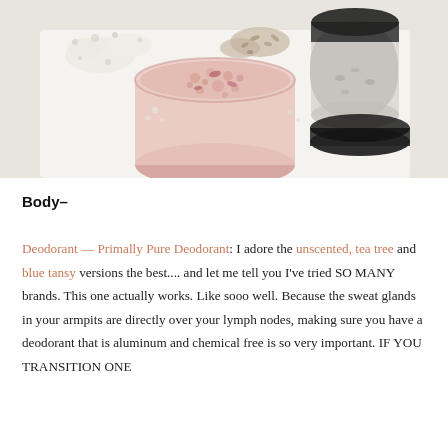[Figure (photo): Overhead photo of jars of natural salt/grain-based deodorant or bath product on a white surface. A large open clear jar with pink granules and rose petals is in the center, with black-lidded jars and loose white crystals and dried botanicals around it.]
Body–
Deodorant — Primally Pure Deodorant: I adore the unscented, tea tree and blue tansy versions the best.... and let me tell you I've tried SO MANY brands. This one actually works. Like sooo well. Because the sweat glands in your armpits are directly over your lymph nodes, making sure you have a deodorant that is aluminum and chemical free is so very important. IF YOU TRANSITION ONE